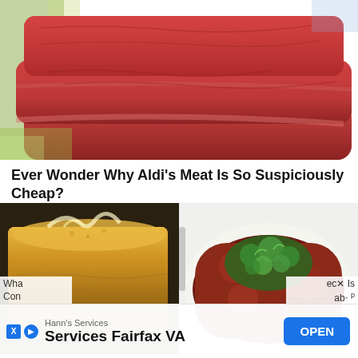[Figure (photo): Close-up photo of raw red meat slices stacked on top of each other]
Ever Wonder Why Aldi's Meat Is So Suspiciously Cheap?
[Figure (photo): Close-up photo of a golden-brown piece of cornbread or cake with glaze]
[Figure (photo): Close-up photo of a dish with minced meat topped with fresh green herbs parsley]
Wha ... Con ...
Hann's Services
Services Fairfax VA
OPEN
ec... Is
ab... p